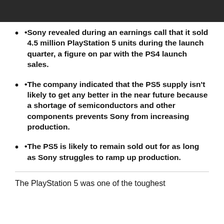[Figure (photo): Dark image strip at the top of the page, partially cropped]
Sony revealed during an earnings call that it sold 4.5 million PlayStation 5 units during the launch quarter, a figure on par with the PS4 launch sales.
The company indicated that the PS5 supply isn't likely to get any better in the near future because a shortage of semiconductors and other components prevents Sony from increasing production.
The PS5 is likely to remain sold out for as long as Sony struggles to ramp up production.
The PlayStation 5 was one of the toughest